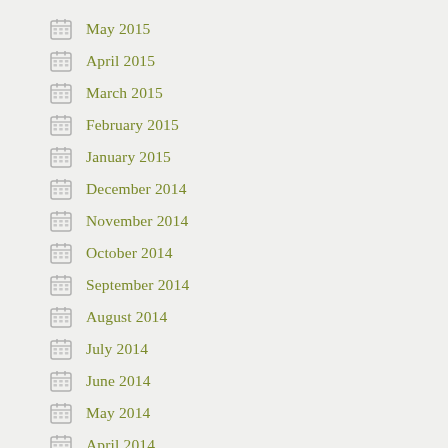May 2015
April 2015
March 2015
February 2015
January 2015
December 2014
November 2014
October 2014
September 2014
August 2014
July 2014
June 2014
May 2014
April 2014